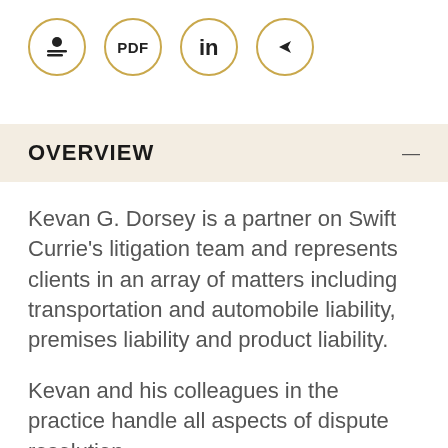[Figure (infographic): Row of four circular icon buttons with gold borders: person/vcard icon, PDF label, LinkedIn 'in' label, and share/forward arrow icon]
OVERVIEW
Kevan G. Dorsey is a partner on Swift Currie’s litigation team and represents clients in an array of matters including transportation and automobile liability, premises liability and product liability.
Kevan and his colleagues in the practice handle all aspects of dispute resolution